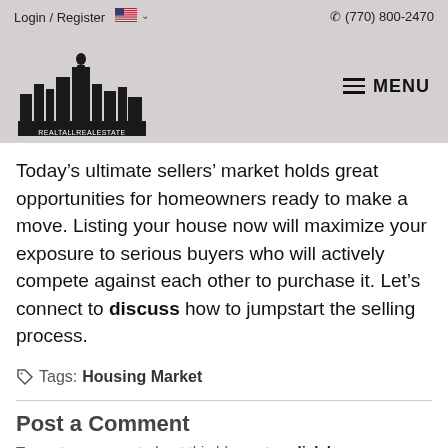Login / Register   (770) 800-2470   MENU
[Figure (logo): RealTallRealEstate logo — city skyline silhouette with a tall figure, black on grey background, text 'REALTALLREALESTATE' below]
Today’s ultimate sellers’ market holds great opportunities for homeowners ready to make a move. Listing your house now will maximize your exposure to serious buyers who will actively compete against each other to purchase it. Let’s connect to discuss how to jumpstart the selling process.
Tags: Housing Market
Post a Comment
To post a comment about this blog entry, click here.